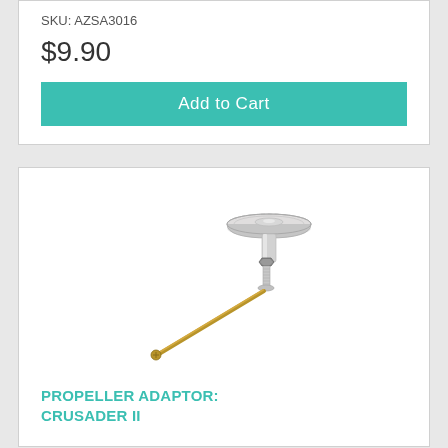SKU: AZSA3016
$9.90
Add to Cart
[Figure (photo): A propeller adaptor hardware piece (Crusader II) with a silver/nickel knurled disc top, threaded shaft, hex nut, and a gold-colored thin pin/shaft extending diagonally.]
PROPELLER ADAPTOR: CRUSADER II